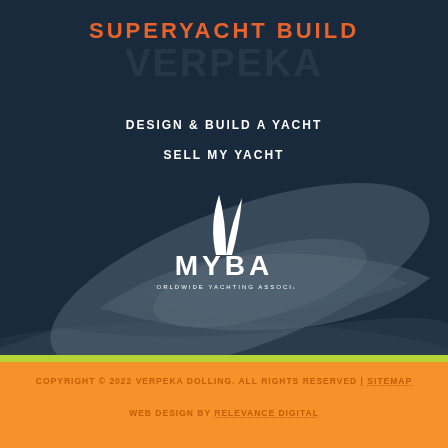SUPERYACHT BUILD
DESIGN & BUILD A YACHT
SELL MY YACHT
[Figure (logo): MYBA - The Worldwide Yachting Association logo with white sail icon above text]
[Figure (photo): Aerial view of a superyacht on dark water, overlaid with dark blue tint]
COPYRIGHT © 2022 VERPEKA DOLLING. ALL RIGHTS RESERVED | SITEMAP
WEB DESIGN BY RELEVANCE DIGITAL